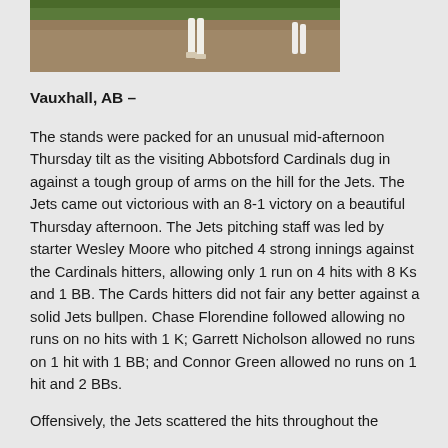[Figure (photo): Partial photo of a baseball field showing grass and dirt, with a player visible in white uniform]
Vauxhall, AB –
The stands were packed for an unusual mid-afternoon Thursday tilt as the visiting Abbotsford Cardinals dug in against a tough group of arms on the hill for the Jets.  The Jets came out victorious with an 8-1 victory on a beautiful Thursday afternoon.  The Jets pitching staff was led by starter Wesley Moore who pitched 4 strong innings against the Cardinals hitters, allowing only 1 run on 4 hits with 8 Ks and 1 BB. The Cards hitters did not fair any better against a solid Jets bullpen.  Chase Florendine followed allowing no runs on no hits with 1 K; Garrett Nicholson allowed no runs on 1 hit with 1 BB; and Connor Green allowed no runs on 1 hit and 2 BBs.
Offensively, the Jets scattered the hits throughout the